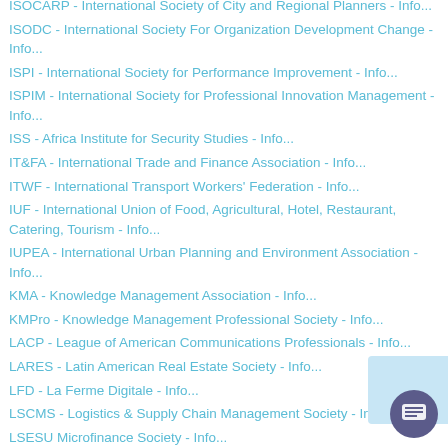ISOCARP - International Society of City and Regional Planners - Info...
ISODC - International Society For Organization Development Change - Info...
ISPI - International Society for Performance Improvement - Info...
ISPIM - International Society for Professional Innovation Management - Info...
ISS - Africa Institute for Security Studies - Info...
IT&FA - International Trade and Finance Association - Info...
ITWF - International Transport Workers' Federation - Info...
IUF - International Union of Food, Agricultural, Hotel, Restaurant, Catering, Tourism - Info...
IUPEA - International Urban Planning and Environment Association - Info...
KMA - Knowledge Management Association - Info...
KMPro - Knowledge Management Professional Society - Info...
LACP - League of American Communications Professionals - Info...
LARES - Latin American Real Estate Society - Info...
LFD - La Ferme Digitale - Info...
LSCMS - Logistics & Supply Chain Management Society - Info...
LSESU Microfinance Society - Info...